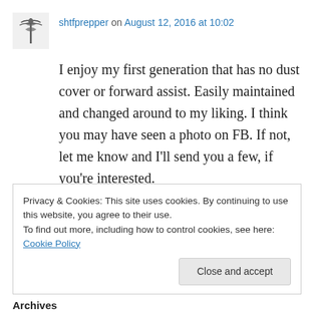[Figure (illustration): Small avatar icon showing a caduceus-like symbol (medical/decorative emblem) in dark tones]
shtfprepper on August 12, 2016 at 10:02
I enjoy my first generation that has no dust cover or forward assist. Easily maintained and changed around to my liking. I think you may have seen a photo on FB. If not, let me know and I'll send you a few, if you're interested.
★ Like
↳ Reply
Privacy & Cookies: This site uses cookies. By continuing to use this website, you agree to their use.
To find out more, including how to control cookies, see here: Cookie Policy
Close and accept
Archives